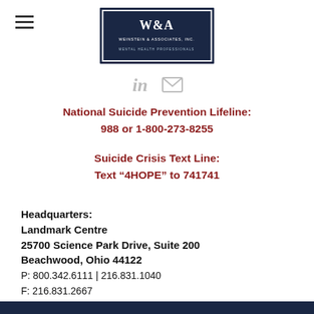[Figure (logo): W&A Weinstein & Associates Inc. Mental Health Professionals logo — blue bordered box with W&A text]
[Figure (other): LinkedIn and email social icons in grey]
National Suicide Prevention Lifeline:
988  or  1-800-273-8255
Suicide Crisis Text Line:
Text “4HOPE” to 741741
Headquarters:
Landmark Centre
25700 Science Park Drive, Suite 200
Beachwood, Ohio 44122
P: 800.342.6111 | 216.831.1040
F: 216.831.2667
Disclaimer | Privacy Policy